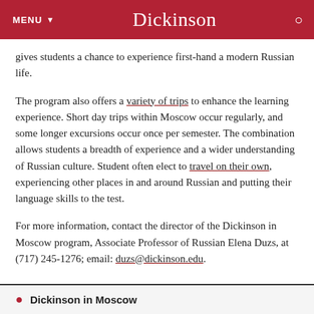MENU  Dickinson
gives students a chance to experience first-hand a modern Russian life.
The program also offers a variety of trips to enhance the learning experience. Short day trips within Moscow occur regularly, and some longer excursions occur once per semester. The combination allows students a breadth of experience and a wider understanding of Russian culture. Student often elect to travel on their own, experiencing other places in and around Russian and putting their language skills to the test.
For more information, contact the director of the Dickinson in Moscow program, Associate Professor of Russian Elena Duzs, at (717) 245-1276; email: duzs@dickinson.edu.
Dickinson in Moscow